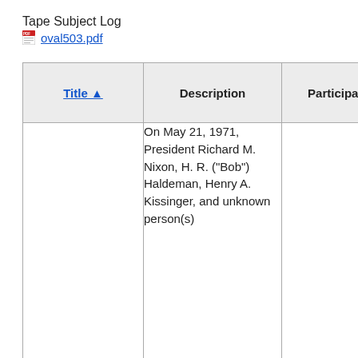Tape Subject Log
oval503.pdf
| Title | Description | Participants | Med |
| --- | --- | --- | --- |
|  | On May 21, 1971, President Richard M. Nixon, H. R. ("Bob") Haldeman, Henry A. Kissinger, and unknown person(s) |  |  |